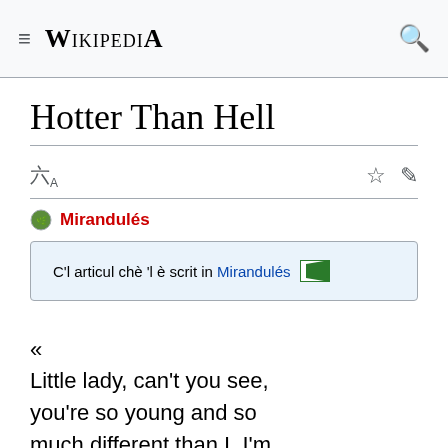≡ WIKIPEDIA 🔍
Hotter Than Hell
🌐A ☆ ✏
Mirandulés
C'l articul chè 'l è scrit in Mirandulés [flag]
« Little lady, can't you see, you're so young and so much different than I, I'm 93, you're sixteen, can't you